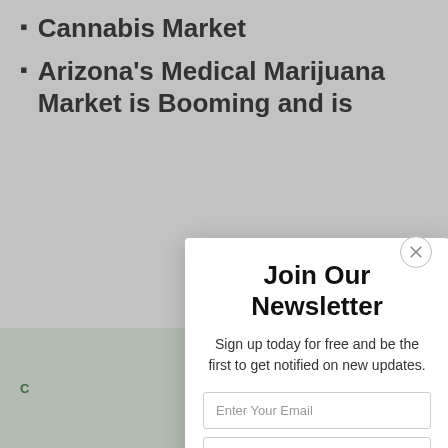How to Enter the Arizona Cannabis Market
Arizona's Medical Marijuana Market is Booming and is
Join Our Newsletter
Sign up today for free and be the first to get notified on new updates.
Enter Your Email
Enter Your Name
SUBSCRIBE
We do not sell or share your information with anyone.